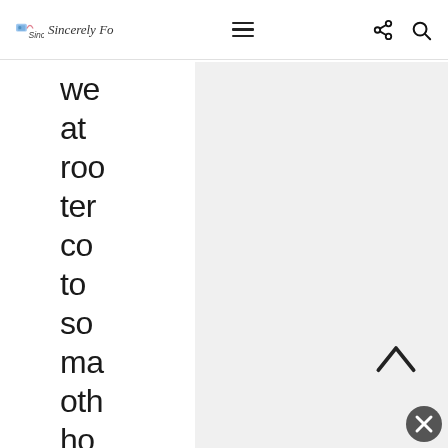Sincerely Fo — navigation bar with hamburger menu, share icon, search icon
we
at
roo
ter
co
to
so
ma
oth
ho
sna
op
Plu
did
l